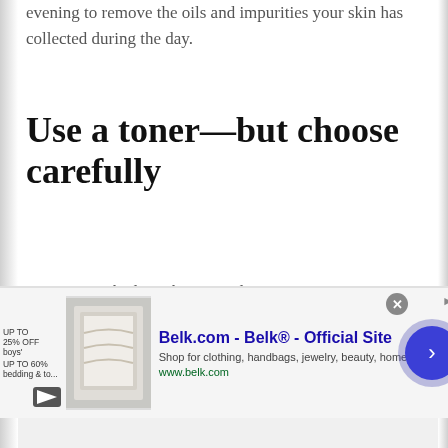evening to remove the oils and impurities your skin has collected during the day.
Use a toner—but choose carefully
Toners get a bad rap, but a good toner is not an astringent that strips good oils from your face, it's actually a hydrator that balances the pH level of your skin.
[Figure (other): Infolinks ad banner for Belk.com - Belk® - Official Site. Shop for clothing, handbags, jewelry, beauty, home & more! www.belk.com]